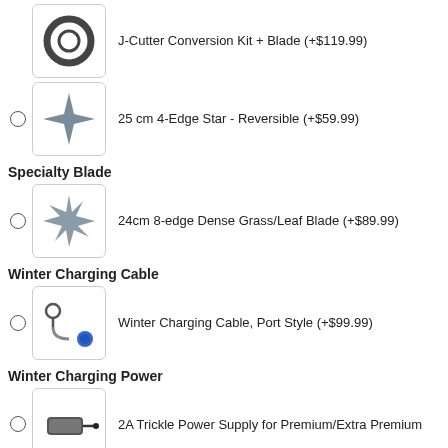J-Cutter Conversion Kit + Blade (+$119.99)
25 cm 4-Edge Star - Reversible (+$59.99)
Specialty Blade
24cm 8-edge Dense Grass/Leaf Blade (+$89.99)
Winter Charging Cable
Winter Charging Cable, Port Style (+$99.99)
Winter Charging Power
2A Trickle Power Supply for Premium/Extra Premium (+$219.99)